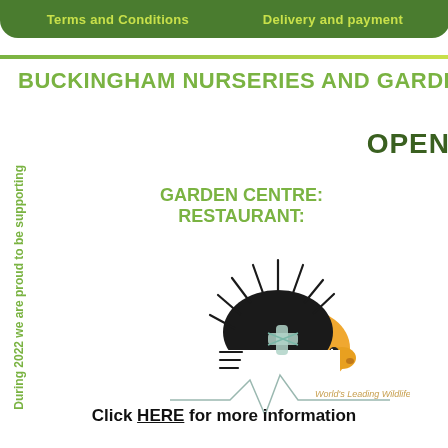Terms and Conditions    Delivery and payment
BUCKINGHAM NURSERIES AND GARDEN C
OPEN
GARDEN CENTRE:
RESTAURANT:
During 2022 we are proud to be supporting
[Figure (logo): Hedgehog logo with bandage cross on body, spines radiating from head, with heartbeat line and text 'World's Leading Wildlife Hospital']
Click HERE for more information